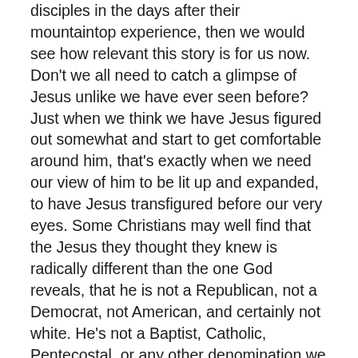disciples in the days after their mountaintop experience, then we would see how relevant this story is for us now. Don't we all need to catch a glimpse of Jesus unlike we have ever seen before? Just when we think we have Jesus figured out somewhat and start to get comfortable around him, that's exactly when we need our view of him to be lit up and expanded, to have Jesus transfigured before our very eyes. Some Christians may well find that the Jesus they thought they knew is radically different than the one God reveals, that he is not a Republican, not a Democrat, not American, and certainly not white. He's not a Baptist, Catholic, Pentecostal, or any other denomination we think he belongs to. No, he is the Son of God, the Beloved. Sometimes we just need to see Jesus in a different light. And that can be terrifying.
And we need to hear things about him we either haven't